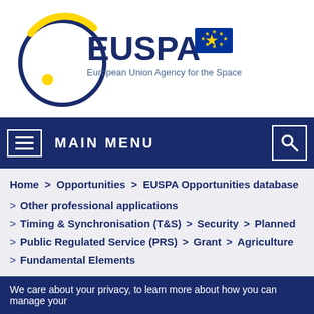[Figure (logo): EUSPA logo with circular yellow and blue emblem, EUSPA text, EU flag, and subtitle European Union Agency for the Space Programme]
MAIN MENU
Home > Opportunities > EUSPA Opportunities database > Other professional applications > Timing & Synchronisation (T&S) > Security > Planned > Public Regulated Service (PRS) > Grant > Agriculture > Fundamental Elements
We care about your privacy, to learn more about how you can manage your